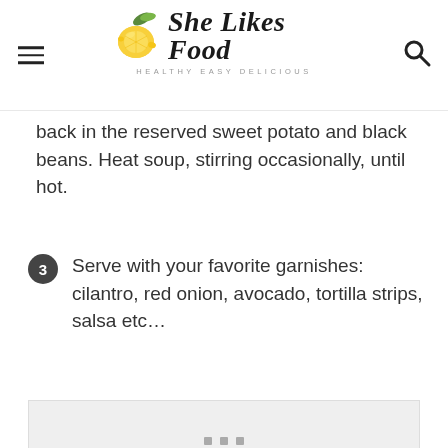She Likes Food - HEALTHY EASY DELICIOUS
back in the reserved sweet potato and black beans. Heat soup, stirring occasionally, until hot.
3. Serve with your favorite garnishes: cilantro, red onion, avocado, tortilla strips, salsa etc…
[Figure (photo): Food photo placeholder with three dots indicator at the bottom]